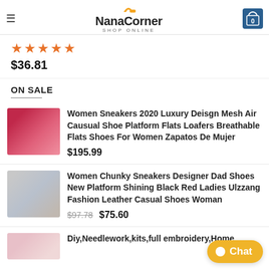NanaCorner SHOP ONLINE
★★★★★
$36.81
ON SALE
Women Sneakers 2020 Luxury Deisgn Mesh Air Causual Shoe Platform Flats Loafers Breathable Flats Shoes For Women Zapatos De Mujer $195.99
Women Chunky Sneakers Designer Dad Shoes New Platform Shining Black Red Ladies Ulzzang Fashion Leather Casual Shoes Woman $97.78 $75.60
Diy,Needlework,kits,full embroidery,Home